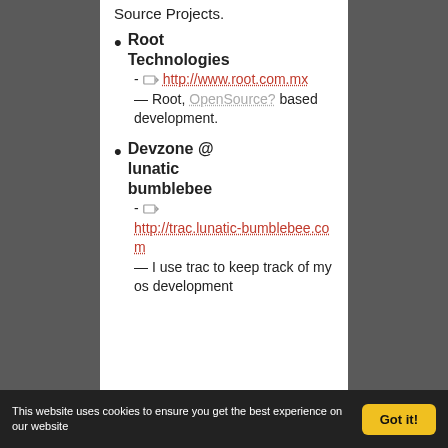Source Projects.
Root Technologies - http://www.root.com.mx — Root, OpenSource? based development.
Devzone @ lunatic bumblebee - http://trac.lunatic-bumblebee.com — I use trac to keep track of my os development
This website uses cookies to ensure you get the best experience on our website